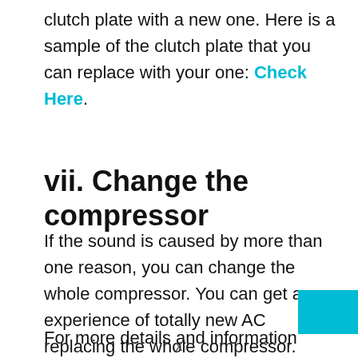clutch plate with a new one. Here is a sample of the clutch plate that you can replace with your one: Check Here.
vii. Change the compressor
If the sound is caused by more than one reason, you can change the whole compressor. You can get an experience of totally new AC replacing the whole compressor.
For more details and information about this